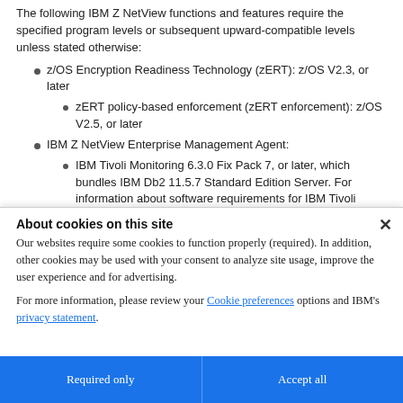The following IBM Z NetView functions and features require the specified program levels or subsequent upward-compatible levels unless stated otherwise:
z/OS Encryption Readiness Technology (zERT): z/OS V2.3, or later
zERT policy-based enforcement (zERT enforcement): z/OS V2.5, or later
IBM Z NetView Enterprise Management Agent:
IBM Tivoli Monitoring 6.3.0 Fix Pack 7, or later, which bundles IBM Db2 11.5.7 Standard Edition Server. For information about software requirements for IBM Tivoli Monitoring 6.3.0, see the IBM Tivoli Monitoring: Installation
About cookies on this site
Our websites require some cookies to function properly (required). In addition, other cookies may be used with your consent to analyze site usage, improve the user experience and for advertising.
For more information, please review your Cookie preferences options and IBM's privacy statement.